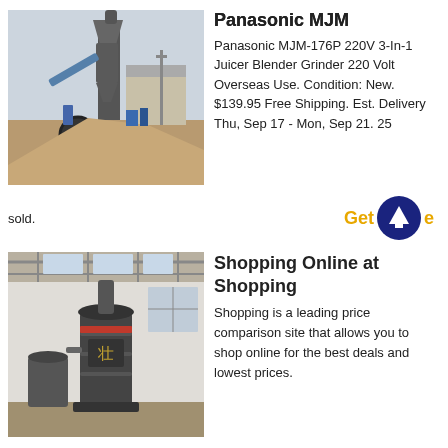[Figure (photo): Industrial machinery / mill equipment outdoors with a large grey dust collector tower and conveyor, in a construction yard setting.]
Panasonic MJM
Panasonic MJM-176P 220V 3-In-1 Juicer Blender Grinder 220 Volt Overseas Use. Condition: New. $139.95 Free Shipping. Est. Delivery Thu, Sep 17 - Mon, Sep 21. 25 sold.
[Figure (illustration): Get Price button with dark navy circle and upward arrow icon, and gold 'Get Price' text.]
[Figure (photo): Industrial mill machine indoors in a large factory/warehouse, featuring a tall grey cylindrical grinder machine.]
Shopping Online at Shopping
Shopping is a leading price comparison site that allows you to shop online for the best deals and lowest prices.